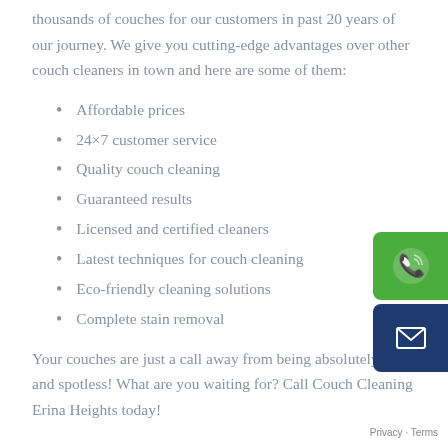thousands of couches for our customers in past 20 years of our journey. We give you cutting-edge advantages over other couch cleaners in town and here are some of them:
Affordable prices
24×7 customer service
Quality couch cleaning
Guaranteed results
Licensed and certified cleaners
Latest techniques for couch cleaning
Eco-friendly cleaning solutions
Complete stain removal
Your couches are just a call away from being absolutely clean and spotless! What are you waiting for? Call Couch Cleaning Erina Heights today!
[Figure (other): Green phone call button and dark blue email button floating on the right side of the page]
Privacy · Terms